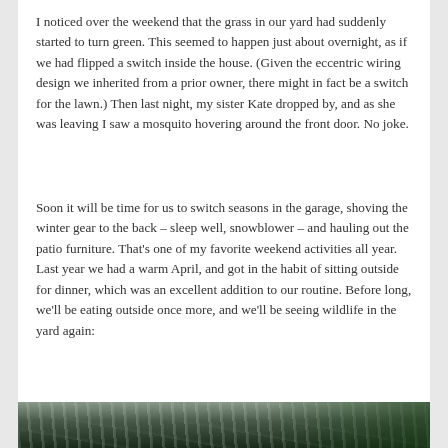I noticed over the weekend that the grass in our yard had suddenly started to turn green. This seemed to happen just about overnight, as if we had flipped a switch inside the house. (Given the eccentric wiring design we inherited from a prior owner, there might in fact be a switch for the lawn.) Then last night, my sister Kate dropped by, and as she was leaving I saw a mosquito hovering around the front door. No joke.
Soon it will be time for us to switch seasons in the garage, shoving the winter gear to the back – sleep well, snowblower – and hauling out the patio furniture. That's one of my favorite weekend activities all year. Last year we had a warm April, and got in the habit of sitting outside for dinner, which was an excellent addition to our routine. Before long, we'll be eating outside once more, and we'll be seeing wildlife in the yard again:
[Figure (photo): Partial photo visible at bottom of page showing what appears to be outdoor wildlife or nature scene, with light streaks and green foliage visible]